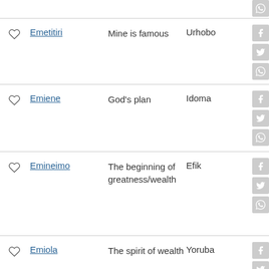Emetitiri — Mine is famous — Urhobo
Emiene — God's plan — Idoma
Emineimo — The beginning of greatness/wealth — Efik
Emiola — The spirit of wealth — Yoruba